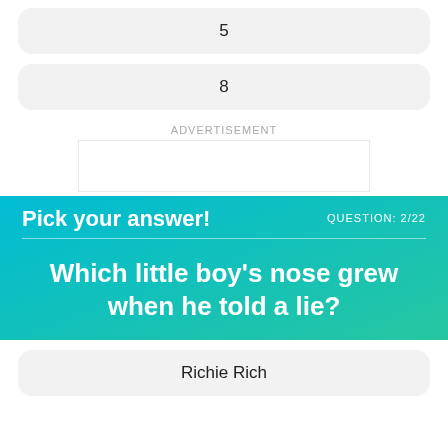5
8
ADVERTISEMENT
Pick your answer!
QUESTION: 2/22
Which little boy's nose grew when he told a lie?
Richie Rich